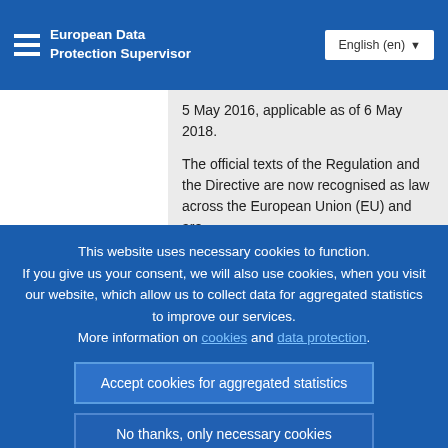European Data Protection Supervisor
5 May 2016, applicable as of 6 May 2018.
The official texts of the Regulation and the Directive are now recognised as law across the European Union (EU) and are
This website uses necessary cookies to function. If you give us your consent, we will also use cookies, when you visit our website, which allow us to collect data for aggregated statistics to improve our services. More information on cookies and data protection.
Accept cookies for aggregated statistics
No thanks, only necessary cookies